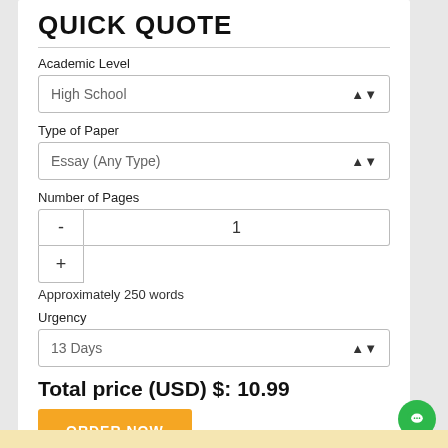QUICK QUOTE
Academic Level
High School
Type of Paper
Essay (Any Type)
Number of Pages
1
Approximately 250 words
Urgency
13 Days
Total price (USD) $: 10.99
ORDER NOW